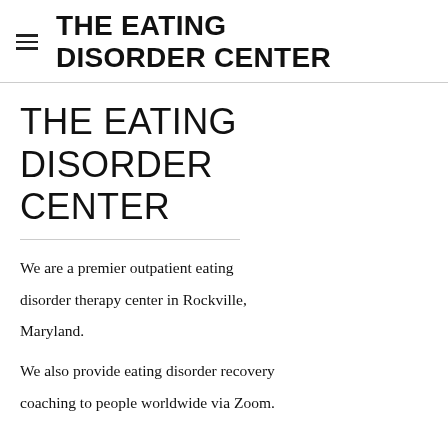THE EATING DISORDER CENTER
THE EATING DISORDER CENTER
We are a premier outpatient eating disorder therapy center in Rockville, Maryland.
We also provide eating disorder recovery coaching to people worldwide via Zoom.